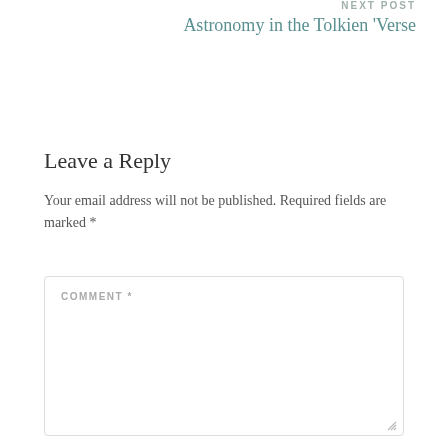NEXT POST
Astronomy in the Tolkien 'Verse
Leave a Reply
Your email address will not be published. Required fields are marked *
COMMENT *